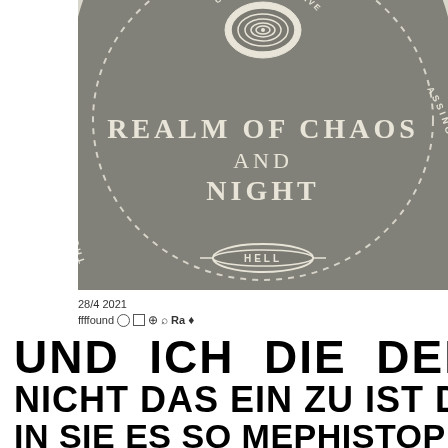[Figure (illustration): Vintage cosmological diagram on dark grey textured background. A large dashed circle arc dominates the center. At top center, concentric rings labeled 'OUR STARRY UNIVERSE'. Along the left arc reads 'THE VACU...' and along the right arc '...ASSING ALL'. In the center, large serif text reads 'REALM OF CHAOS AND NIGHT'. At the bottom of the dashed arc, a lens/vesica shape labeled 'HELL' with decorative lines.]
28/4 2021
ffffound ○ □ 🔒 🔍 Ra ♦
UND ICH DIE DER NICHT DAS EIN ZU IST DU IN SIE ES SO MEPHISTOPHELES DEN MIT FAUST SICH IHR MIR